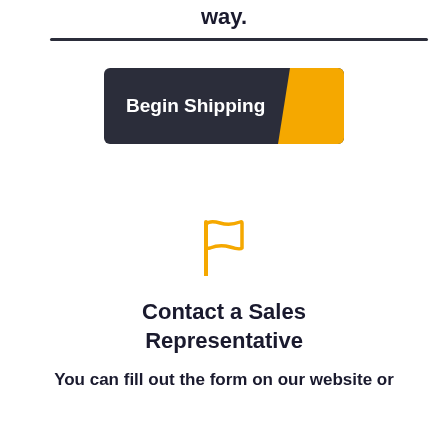way.
[Figure (other): Horizontal dark divider line]
[Figure (other): Begin Shipping button with dark background and yellow parallelogram arrow icon]
[Figure (illustration): Orange flag icon]
Contact a Sales Representative
You can fill out the form on our website or